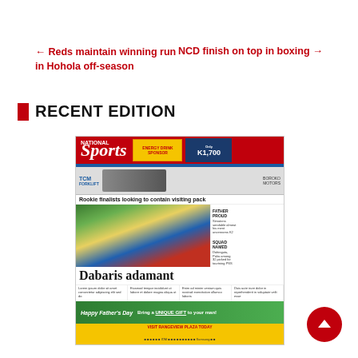← Reds maintain winning run in Hohola off-season    NCD finish on top in boxing →
RECENT EDITION
[Figure (photo): Thumbnail image of a National Sports newspaper front page featuring the headline 'Dabaris adamant', sub-headline 'Rookie finalists looking to contain visiting pack', sports action photos, Father's Day advertisement, and sponsor logos.]